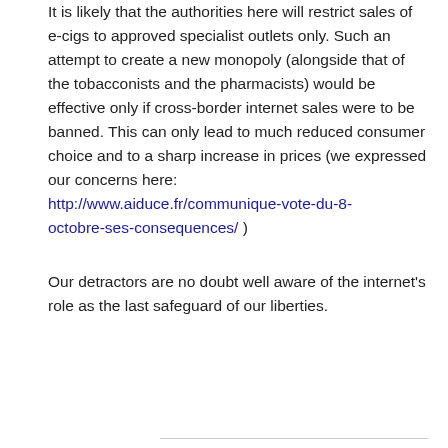It is likely that the authorities here will restrict sales of e-cigs to approved specialist outlets only. Such an attempt to create a new monopoly (alongside that of the tobacconists and the pharmacists) would be effective only if cross-border internet sales were to be banned. This can only lead to much reduced consumer choice and to a sharp increase in prices (we expressed our concerns here: http://www.aiduce.fr/communique-vote-du-8-octobre-ses-consequences/ )
Our detractors are no doubt well aware of the internet's role as the last safeguard of our liberties.
Reply